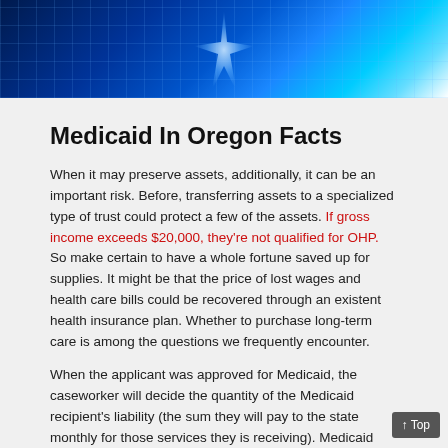[Figure (photo): Blue glowing grid/network background image with a bright starburst light effect in the center, dark blue to light blue gradient]
Medicaid In Oregon Facts
When it may preserve assets, additionally, it can be an important risk. Before, transferring assets to a specialized type of trust could protect a few of the assets. If gross income exceeds $20,000, they're not qualified for OHP. So make certain to have a whole fortune saved up for supplies. It might be that the price of lost wages and health care bills could be recovered through an existent health insurance plan. Whether to purchase long-term care is among the questions we frequently encounter.
When the applicant was approved for Medicaid, the caseworker will decide the quantity of the Medicaid recipient's liability (the sum they will pay to the state monthly for those services they is receiving). Medicaid eligibility is decided at many levels. Medicaid eligibility is exceedingly intricate and to offer the minute details is past the